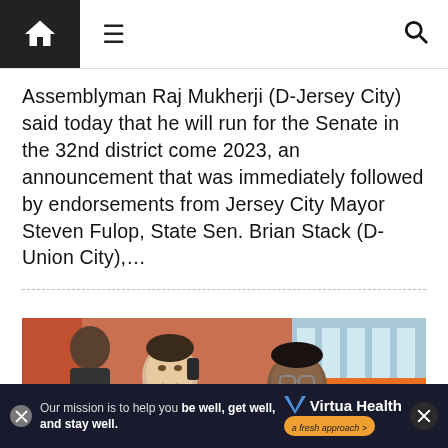Navigation bar with home, menu, and search icons
Assemblyman Raj Mukherji (D-Jersey City) said today that he will run for the Senate in the 32nd district come 2023, an announcement that was immediately followed by endorsements from Jersey City Mayor Steven Fulop, State Sen. Brian Stack (D-Union City),...
[Figure (photo): Two men in dark suits conversing, one younger with a red tie, one older with glasses, in front of a building with orange and blue accents. A third man visible in the background.]
[Figure (infographic): Virtua Health advertisement banner: 'Our mission is to help you be well, get well, and stay well.' with Virtua Health logo and 'a fresh approach' tagline on dark background.]